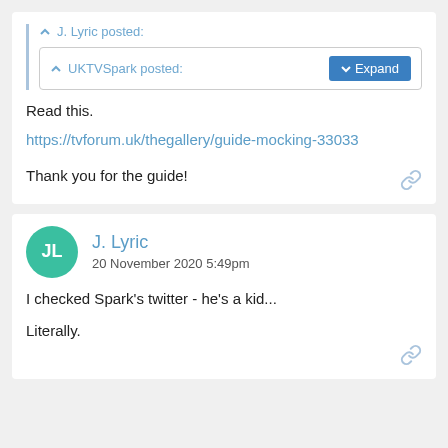J. Lyric posted:
UKTVSpark posted:
Read this.
https://tvforum.uk/thegallery/guide-mocking-33033
Thank you for the guide!
J. Lyric
20 November 2020 5:49pm
I checked Spark's twitter - he's a kid...
Literally.